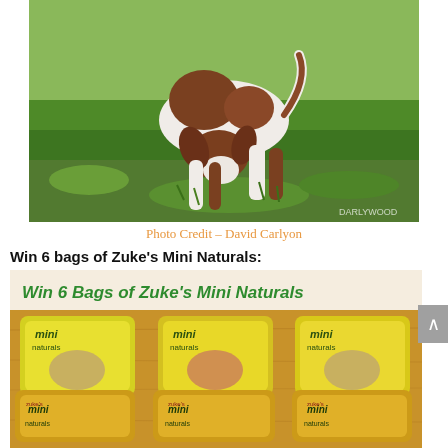[Figure (photo): A brown and white beagle dog sniffing the grass outdoors on a green lawn]
Photo Credit – David Carlyon
Win 6 bags of Zuke's Mini Naturals:
[Figure (photo): Banner and product photo showing 6 bags of Zuke's Mini Naturals dog treats with text 'Win 6 Bags of Zuke's Mini Naturals' in green italic bold text on a cream background, below which are 6 yellow bags of mini naturals dog treats arranged in two rows]
Win 6 Bags of Zuke's Mini Naturals